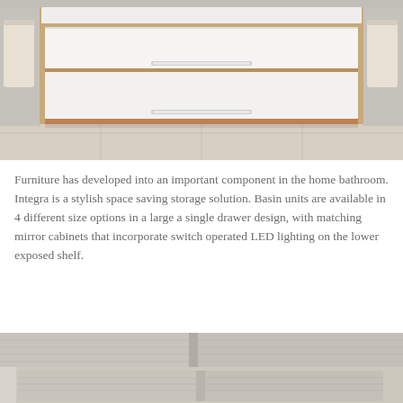[Figure (photo): Wall-mounted bathroom vanity unit with white drawer fronts and wood-tone frame surround, two drawers with chrome handles, beige towels hanging on either side, light grey wall and wood-effect floor tile background.]
Furniture has developed into an important component in the home bathroom. Integra is a stylish space saving storage solution. Basin units are available in 4 different size options in a large a single drawer design, with matching mirror cabinets that incorporate switch operated LED lighting on the lower exposed shelf.
[Figure (photo): Close-up of a light wood-grain effect bathroom furniture unit showing drawer fronts with subtle horizontal grain texture in a pale taupe/grey tone.]